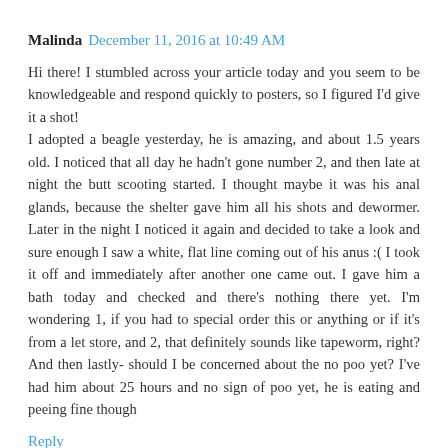Malinda  December 11, 2016 at 10:49 AM
Hi there! I stumbled across your article today and you seem to be knowledgeable and respond quickly to posters, so I figured I'd give it a shot!
I adopted a beagle yesterday, he is amazing, and about 1.5 years old. I noticed that all day he hadn't gone number 2, and then late at night the butt scooting started. I thought maybe it was his anal glands, because the shelter gave him all his shots and dewormer. Later in the night I noticed it again and decided to take a look and sure enough I saw a white, flat line coming out of his anus :( I took it off and immediately after another one came out. I gave him a bath today and checked and there's nothing there yet. I'm wondering 1, if you had to special order this or anything or if it's from a let store, and 2, that definitely sounds like tapeworm, right? And then lastly- should I be concerned about the no poo yet? I've had him about 25 hours and no sign of poo yet, he is eating and peeing fine though
Reply
▼ Replies